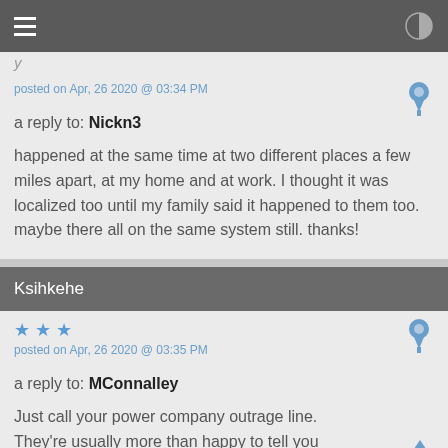posted on Apr, 26 2020 @ 03:34 PM
a reply to: Nickn3
happened at the same time at two different places a few miles apart, at my home and at work. I thought it was localized too until my family said it happened to them too. maybe there all on the same system still. thanks!
Ksihkehe
posted on Apr, 26 2020 @ 03:35 PM
a reply to: MConnalley
Just call your power company outrage line. They're usually more than happy to tell you what they know.